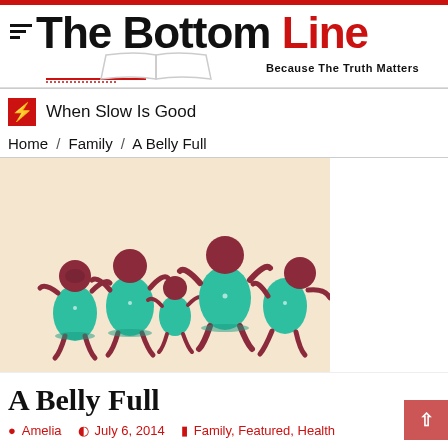The Bottom Line — Because The Truth Matters
When Slow Is Good
Home / Family / A Belly Full
[Figure (illustration): Stylized illustration of a group of stout women in teal/green dresses dancing or moving together on a peach background]
A Belly Full
Amelia   July 6, 2014   Family, Featured, Health